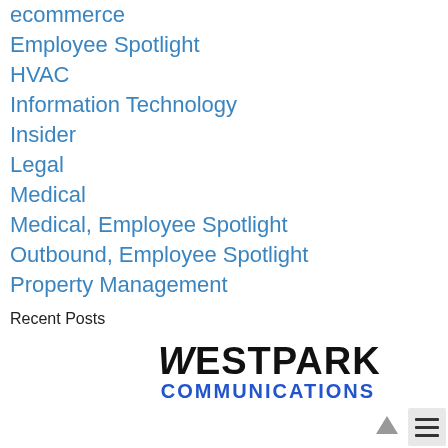ecommerce
Employee Spotlight
HVAC
Information Technology
Insider
Legal
Medical
Medical, Employee Spotlight
Outbound, Employee Spotlight
Property Management
Recent Posts
[Figure (logo): Westpark Communications logo — WESTPARK in large black bold uppercase text, COMMUNICATIONS in bold blue uppercase text below]